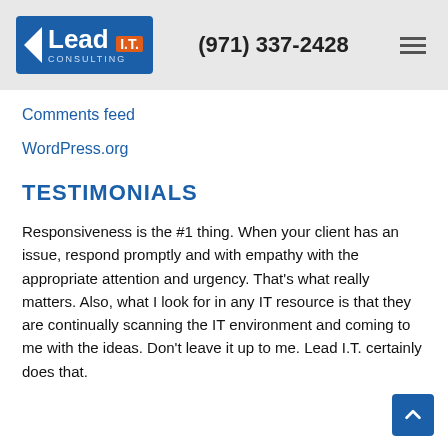Lead I.T. Consulting | (971) 337-2428
Comments feed
WordPress.org
TESTIMONIALS
Responsiveness is the #1 thing. When your client has an issue, respond promptly and with empathy with the appropriate attention and urgency. That’s what really matters. Also, what I look for in any IT resource is that they are continually scanning the IT environment and coming to me with the ideas. Don’t leave it up to me. Lead I.T. certainly does that.